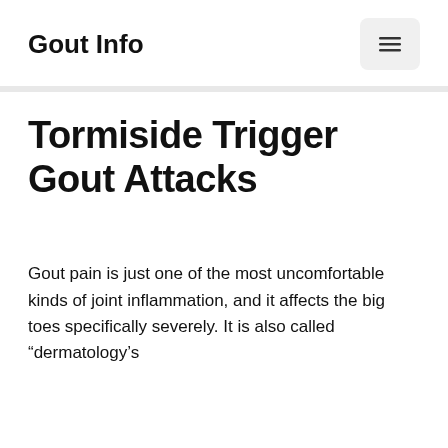Gout Info
Tormiside Trigger Gout Attacks
Gout pain is just one of the most uncomfortable kinds of joint inflammation, and it affects the big toes specifically severely. It is also called “dermatology’s